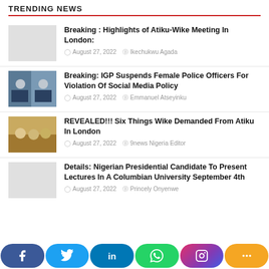TRENDING NEWS
Breaking : Highlights of Atiku-Wike Meeting In London:
Breaking: IGP Suspends Female Police Officers For Violation Of Social Media Policy
REVEALED!!! Six Things Wike Demanded From Atiku In London
Details: Nigerian Presidential Candidate To Present Lectures In A Columbian University September 4th